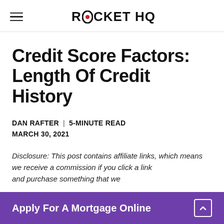ROCKET HQ
Credit Score Factors: Length Of Credit History
DAN RAFTER | 5-MINUTE READ
MARCH 30, 2021
Disclosure: This post contains affiliate links, which means we receive a commission if you click a link and purchase something that we recommend.
Apply For A Mortgage Online